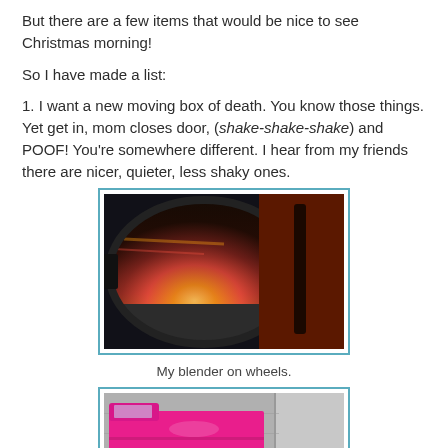But there are a few items that would be nice to see Christmas morning!
So I have made a list:
1. I want a new moving box of death. You know those things. Yet get in, mom closes door, (shake-shake-shake) and POOF! You're somewhere different. I hear from my friends there are nicer, quieter, less shaky ones.
[Figure (photo): A side view mirror of a vehicle reflecting a dramatic orange and red sunset over a flat landscape. The mirror frame is dark/black. The reflection shows vivid fiery colors in the sky.]
My blender on wheels.
[Figure (photo): A pink/magenta colored moving truck or van parked in front of a building. The image is partially cropped showing the lower portion of the truck.]